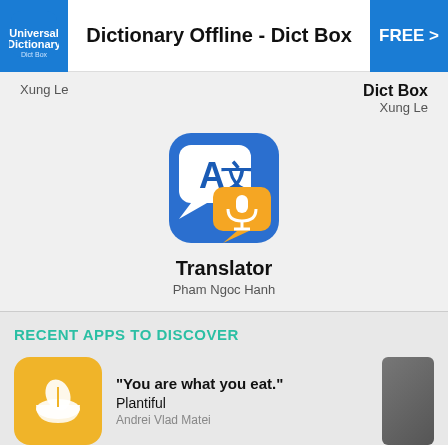Dictionary Offline - Dict Box  FREE >
Xung Le
Dict Box
Xung Le
[Figure (logo): Translator app icon: blue rounded square with white speech bubble containing 'A' and Chinese character, overlaid by orange speech bubble with microphone icon]
Translator
Pham Ngoc Hanh
RECENT APPS TO DISCOVER
[Figure (logo): Plantiful app icon: yellow/gold rounded square with white bowl and leaf illustration]
"You are what you eat."
Plantiful
Andrei Vlad Matei
[Figure (photo): Partially visible photo thumbnail on the right edge]